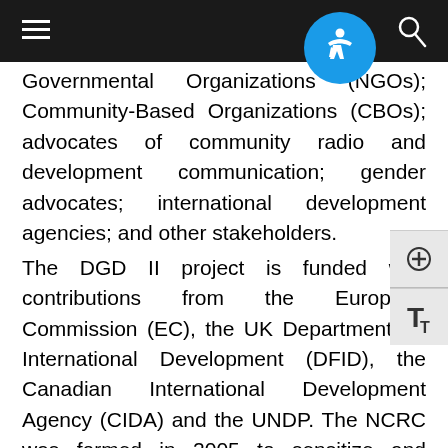Governmental Organizations (NGOs); Community-Based Organizations (CBOs); advocates of community radio and development communication; gender advocates; international development agencies; and other stakeholders.
The DGD II project is funded with contributions from the European Commission (EC), the UK Department for International Development (DFID), the Canadian International Development Agency (CIDA) and the UNDP. The NCRC was formed in 2005 to sensitize and mobilize stakeholders and heighten advocacy to fill the gaps in the Nigerian broadcasting landscape that undermine democratic participation and development efforts.